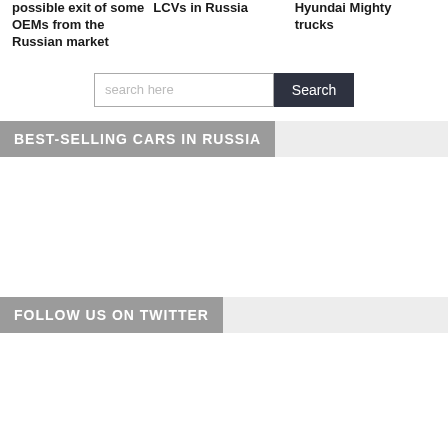possible exit of some OEMs from the Russian market
LCVs in Russia
Hyundai Mighty trucks
BEST-SELLING CARS IN RUSSIA
FOLLOW US ON TWITTER